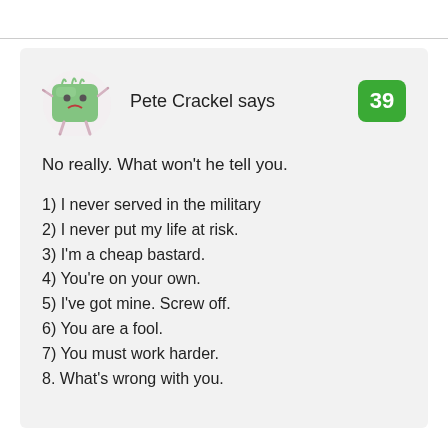Pete Crackel says
No really. What won't he tell you.
1) I never served in the military
2) I never put my life at risk.
3) I'm a cheap bastard.
4) You're on your own.
5) I've got mine. Screw off.
6) You are a fool.
7) You must work harder.
8. What's wrong with you.